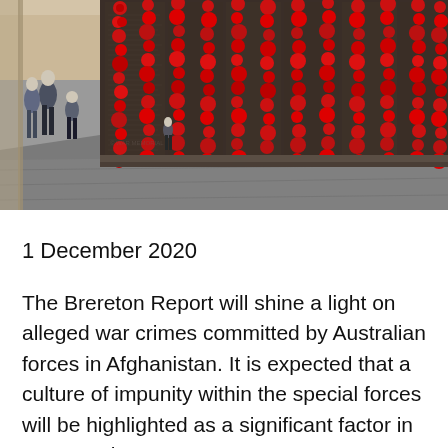[Figure (photo): People walking along a long memorial wall covered with red poppy flowers arranged in vertical garlands. The wall appears to be the Roll of Honour at the Australian War Memorial in Canberra, with names engraved on dark panels and thousands of red poppies placed by visitors.]
1 December 2020
The Brereton Report will shine a light on alleged war crimes committed by Australian forces in Afghanistan. It is expected that a culture of impunity within the special forces will be highlighted as a significant factor in perpetuating